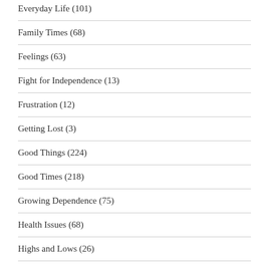Everyday Life (101)
Family Times (68)
Feelings (63)
Fight for Independence (13)
Frustration (12)
Getting Lost (3)
Good Things (224)
Good Times (218)
Growing Dependence (75)
Health Issues (68)
Highs and Lows (26)